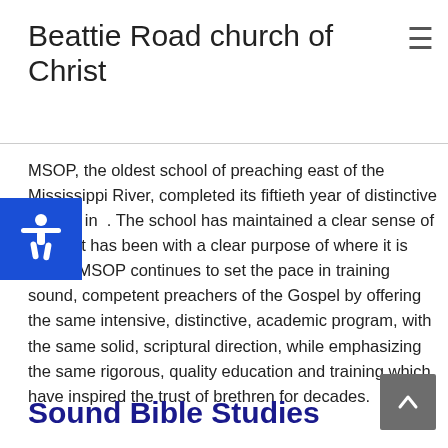Beattie Road church of Christ
MSOP, the oldest school of preaching east of the Mississippi River, completed its fiftieth year of distinctive service in . The school has maintained a clear sense of where it has been with a clear purpose of where it is going. MSOP continues to set the pace in training sound, competent preachers of the Gospel by offering the same intensive, distinctive, academic program, with the same solid, scriptural direction, while emphasizing the same rigorous, quality education and training which have inspired the trust of brethren for decades.
Sound Bible Studies